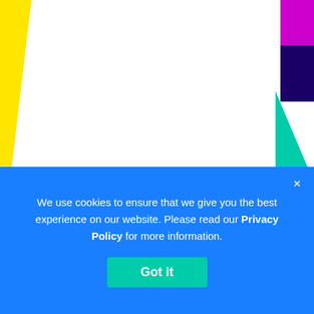[Figure (illustration): Yellow triangle on left edge, colorful geometric shapes (magenta, navy, teal triangle, teal arrow) on the right edge of the page header area]
The Download – 02 Dec 2020
Held on Wednesday 02 December 2020, the
We use cookies to ensure that we give you the best experience on our website. Please read our Privacy Policy for more information.
Got it